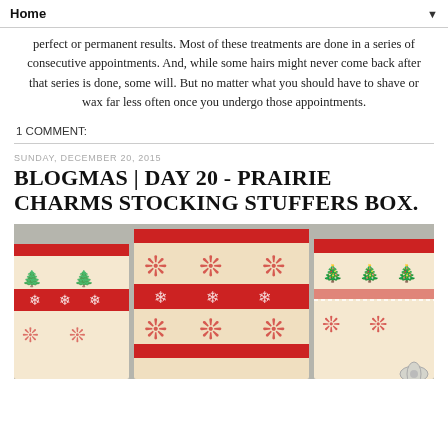Home ▼
perfect or permanent results. Most of these treatments are done in a series of consecutive appointments. And, while some hairs might never come back after that series is done, some will. But no matter what you should have to shave or wax far less often once you undergo those appointments.
1 COMMENT:
SUNDAY, DECEMBER 20, 2015
BLOGMAS | DAY 20 - PRAIRIE CHARMS STOCKING STUFFERS BOX.
[Figure (photo): Photo of three red and white Christmas-patterned gift boxes/packages wrapped with decorative paper featuring snowflakes, poinsettias, and Christmas trees on a grey surface.]